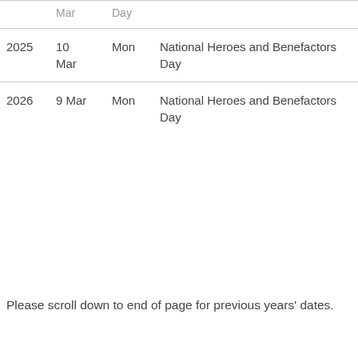| Year | Date | Day | Name |
| --- | --- | --- | --- |
| 2025 | 10 Mar | Mon | National Heroes and Benefactors Day |
| 2026 | 9 Mar | Mon | National Heroes and Benefactors Day |
Please scroll down to end of page for previous years' dates.